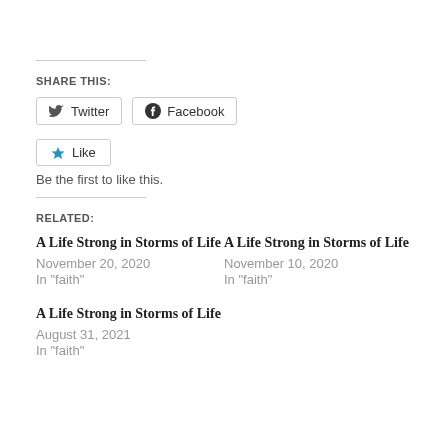SHARE THIS:
Twitter  Facebook
Like
Be the first to like this.
RELATED:
A Life Strong in Storms of Life
November 20, 2020
In "faith"
A Life Strong in Storms of Life
November 10, 2020
In "faith"
A Life Strong in Storms of Life
August 31, 2021
In "faith"